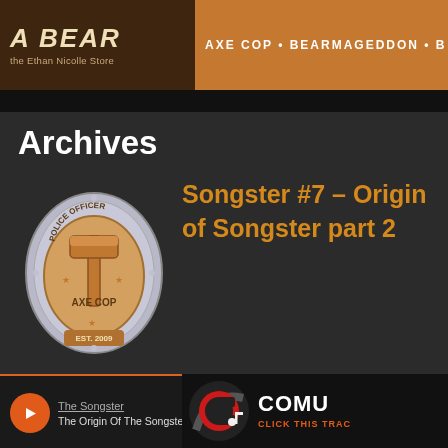A BEAR • the Ethan Nicolle Store — AXE COP • BEARMAGEDDON • B
Archives
[Figure (logo): Axe Cop police officer badge, bronze/silver, with axe in center, text POLICE OFFICER, AXE COP, EST. 2009]
Songster #7 – Origin of Songster part 2
[Figure (logo): Comufy logo with red C and music note, white bold text COMUFY, orange text CLICK THIS TRACK]
[Figure (screenshot): Audio player with orange play button, link The Songster, track title The Origin Of The Songster - Part 2, and red devil character on right]